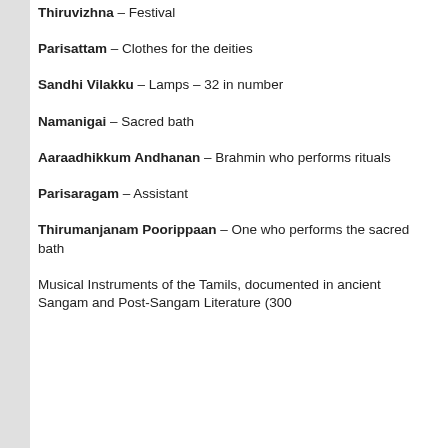Thiruvizhna – Festival
Parisattam – Clothes for the deities
Sandhi Vilakku – Lamps – 32 in number
Namanigai – Sacred bath
Aaraadhikkum Andhanan – Brahmin who performs rituals
Parisaragam – Assistant
Thirumanjanam Poorippaan – One who performs the sacred bath
Musical Instruments of the Tamils, documented in ancient Sangam and Post-Sangam Literature (300